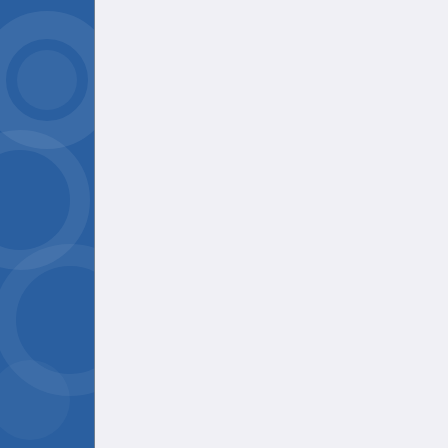I t... my... ju... fa...
Reply
Anonymous
I liked the i...
I can see w... house on s...
Since you ... and what m... emotionally... regularly d... extremely p... pre-Retcon... interesting ...
Reply
▼ Replies